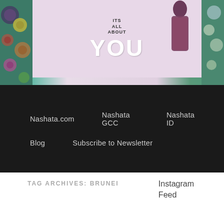[Figure (illustration): Website header banner with floral background on left and right edges, light purple/pink center with 'ITS ALL ABOUT YOU' text and a person figure on the right side]
Nashata.com
Nashata GCC
Nashata ID
Blog
Subscribe to Newsletter
TAG ARCHIVES: BRUNEI
Instagram Feed